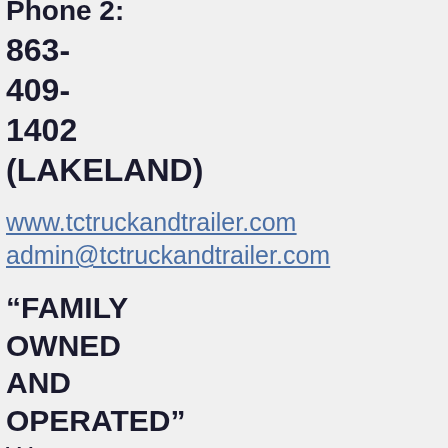Phone 2:
863-409-1402 (LAKELAND)
www.tctruckandtrailer.com
admin@tctruckandtrailer.com
“FAMILY OWNED AND OPERATED” We provide 24/7